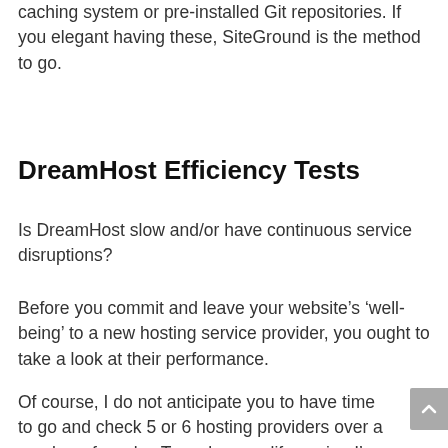caching system or pre-installed Git repositories. If you elegant having these, SiteGround is the method to go.
DreamHost Efficiency Tests
Is DreamHost slow and/or have continuous service disruptions?
Before you commit and leave your website's 'well-being' to a new hosting service provider, you ought to take a look at their performance.
Of course, I do not anticipate you to have time to go and check 5 or 6 hosting providers over a number of weeks. To make your life easier, I've recently tested DreamHost's efficiency